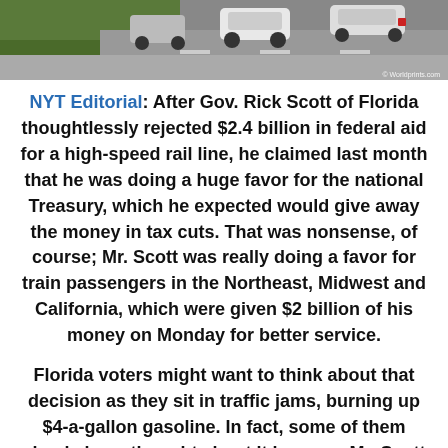[Figure (photo): Aerial or elevated view of cars on a road, with greenery visible. White/silver cars visible. Worldprints.com watermark.]
NYT Editorial: After Gov. Rick Scott of Florida thoughtlessly rejected $2.4 billion in federal aid for a high-speed rail line, he claimed last month that he was doing a huge favor for the national Treasury, which he expected would give away the money in tax cuts. That was nonsense, of course; Mr. Scott was really doing a favor for train passengers in the Northeast, Midwest and California, which were given $2 billion of his money on Monday for better service.
Florida voters might want to think about that decision as they sit in traffic jams, burning up $4-a-gallon gasoline. In fact, some of them clearly have thought about it because Mr. Scott now has some of the worst approval ratings of a